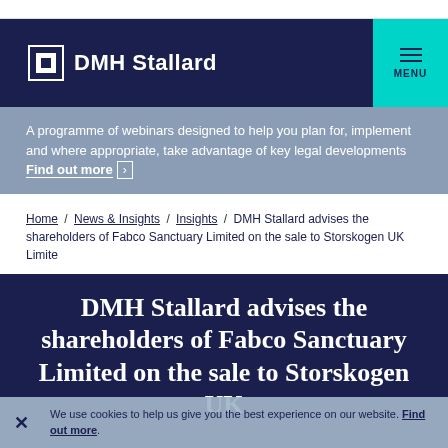DMH Stallard
A programme of webinars designed to help you plan for, implement and where appropriate, take advantage of key legal developments  Find out more ›
Home / News & Insights / Insights / DMH Stallard advises the shareholders of Fabco Sanctuary Limited on the sale to Storskogen UK Limite
DMH Stallard advises the shareholders of Fabco Sanctuary Limited on the sale to Storskogen UK Limited
We use cookies to help us give you the best experience on our website. Find out more.